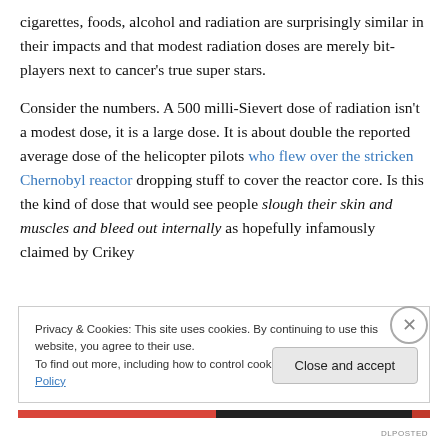cigarettes, foods, alcohol and radiation are surprisingly similar in their impacts and that modest radiation doses are merely bit-players next to cancer's true super stars.
Consider the numbers. A 500 milli-Sievert dose of radiation isn't a modest dose, it is a large dose. It is about double the reported average dose of the helicopter pilots who flew over the stricken Chernobyl reactor dropping stuff to cover the reactor core. Is this the kind of dose that would see people slough their skin and muscles and bleed out internally as hopefully infamously claimed by Crikey
Privacy & Cookies: This site uses cookies. By continuing to use this website, you agree to their use.
To find out more, including how to control cookies, see here: Cookie Policy
Close and accept